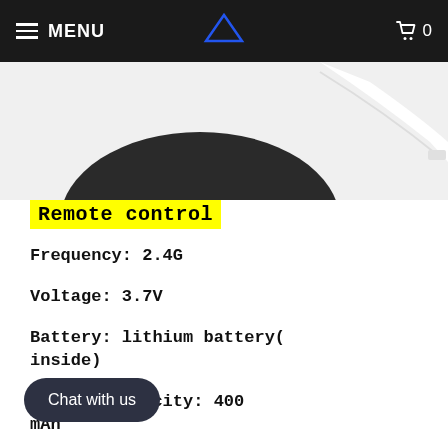MENU | [Logo] | 0
[Figure (photo): Partial view of a dark remote control device with a white USB charging cable against a white background]
Remote control
Frequency: 2.4G
Voltage: 3.7V
Battery: lithium battery(inside)
Battery capacity: 400 mAh
Type of control: PWM
Output frequency: 1-2
Chat with us